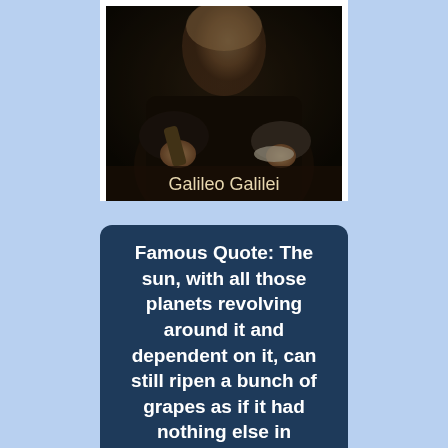[Figure (photo): A classical oil painting portrait of Galileo Galilei, showing him holding what appears to be a telescope, with a dark background. The name 'Galileo Galilei' is displayed in light text at the bottom of the image.]
Famous Quote: The sun, with all those planets revolving around it and dependent on it, can still ripen a bunch of grapes as if it had nothing else in